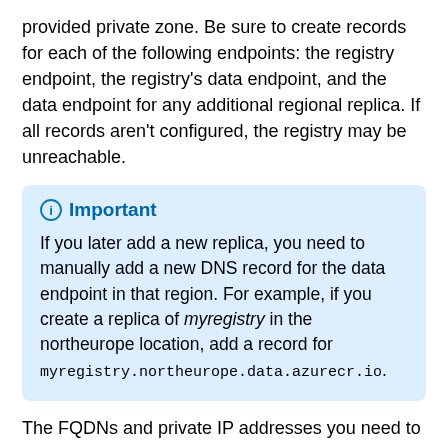provided private zone. Be sure to create records for each of the following endpoints: the registry endpoint, the registry's data endpoint, and the data endpoint for any additional regional replica. If all records aren't configured, the registry may be unreachable.
Important
If you later add a new replica, you need to manually add a new DNS record for the data endpoint in that region. For example, if you create a replica of myregistry in the northeurope location, add a record for myregistry.northeurope.data.azurecr.io.
The FQDNs and private IP addresses you need to create DNS records are associated with the private endpoint's network interface. You can obtain this information using the